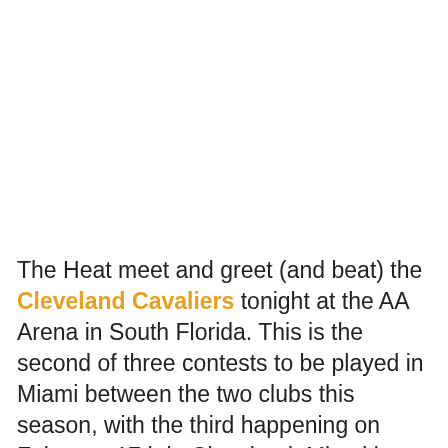The Heat meet and greet (and beat) the Cleveland Cavaliers tonight at the AA Arena in South Florida. This is the second of three contests to be played in Miami between the two clubs this season, with the third happening on February 17th in Cleveland. Miami is finishing up a short two game homestand, having beaten the Toronto Raptors, 95-89 on Sunday. After